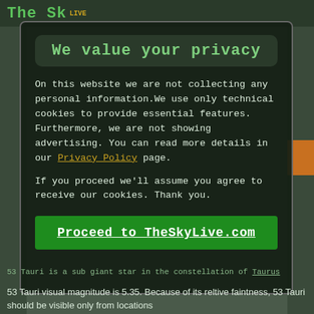The Sky LIVE
We value your privacy
On this website we are not collecting any personal information.We use only technical cookies to provide essential features. Furthermore, we are not showing advertising. You can read more details in our Privacy Policy page.
If you proceed we'll assume you agree to receive our cookies. Thank you.
Proceed to TheSkyLive.com
53 Tauri is a sub giant star in the constellation of Taurus
53 Tauri visual magnitude is 5.35. Because of its reltive faintness, 53 Tauri should be visible only from locations